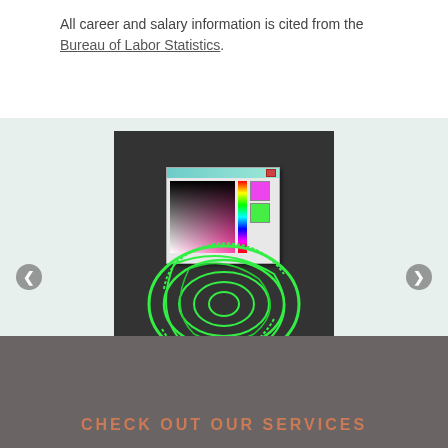All career and salary information is cited from the Bureau of Labor Statistics.
[Figure (photo): A photo of a computer monitor displaying a graphic design with a green swirling logo and a color picker dialog box open, showing a gradient from black to pink with a rainbow spectrum bar.]
CHECK OUT OUR SERVICES